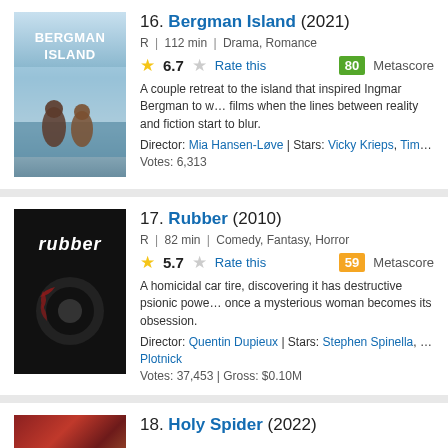16. Bergman Island (2021) R | 112 min | Drama, Romance Rating: 6.7 | Metascore: 80 | A couple retreat to the island that inspired Ingmar Bergman to w... films when the lines between reality and fiction start to blur. Director: Mia Hansen-Løve | Stars: Vicky Krieps, Tim Roth, Gra... Votes: 6,313
17. Rubber (2010) R | 82 min | Comedy, Fantasy, Horror Rating: 5.7 | Metascore: 59 | A homicidal car tire, discovering it has destructive psionic powe... once a mysterious woman becomes its obsession. Director: Quentin Dupieux | Stars: Stephen Spinella, Roxane Me..., Plotnick Votes: 37,453 | Gross: $0.10M
18. Holy Spider (2022)